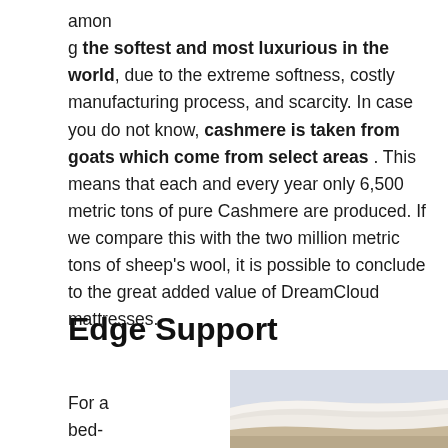among the softest and most luxurious in the world, due to the extreme softness, costly manufacturing process, and scarcity. In case you do not know, cashmere is taken from goats which come from select areas . This means that each and every year only 6,500 metric tons of pure Cashmere are produced. If we compare this with the two million metric tons of sheep's wool, it is possible to conclude to the great added value of DreamCloud mattresses.
Edge Support
For a bed-
[Figure (photo): Photo of a mattress edge, showing layered foam construction in white and beige tones.]